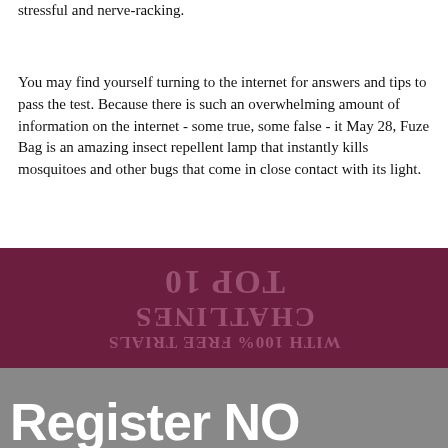stressful and nerve-racking.
You may find yourself turning to the internet for answers and tips to pass the test. Because there is such an overwhelming amount of information on the internet - some true, some false - it May 28, Fuze Bag is an amazing insect repellent lamp that instantly kills mosquitoes and other bugs that come in close contact with its light.
[Figure (other): Advertisement banner with dark purple/maroon background showing mirrored/reflected text reading 'TOP 10 CHATLINES WITH 100% FREE TRIALS']
[Figure (photo): Photo of hands with text overlay 'Register NO' (Register Now, partially visible)]